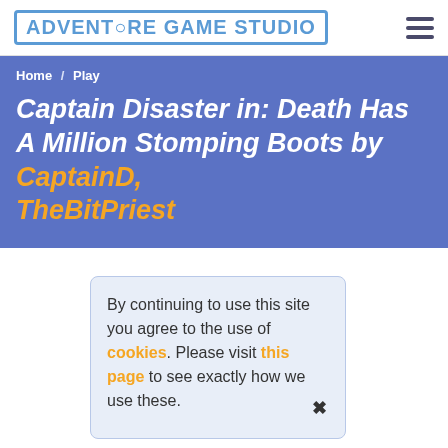Adventure Game Studio [logo] / hamburger menu
Home / Play
Captain Disaster in: Death Has A Million Stomping Boots by CaptainD, TheBitPriest
By continuing to use this site you agree to the use of cookies. Please visit this page to see exactly how we use these.